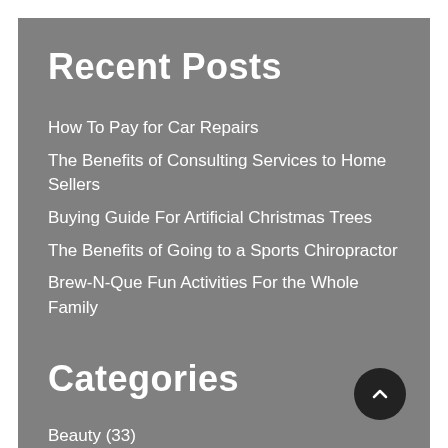Recent Posts
How To Pay for Car Repairs
The Benefits of Consulting Services to Home Sellers
Buying Guide For Artificial Christmas Trees
The Benefits of Going to a Sports Chiropractor
Brew-N-Que Fun Activities For the Whole Family
Categories
Beauty (33)